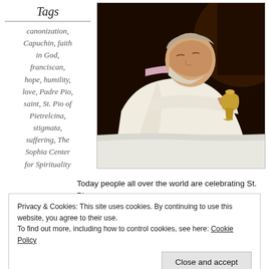Tags
canonization, Capuchin, faith in God, franciscan, hope, humility, love, Padre Pio, saint, St. Pio of Pietrelcina, stigmata, suffering, The Sophia Center for Spirituality
[Figure (photo): Photo of Padre Pio, an elderly bearded man in white robes, bowing over a golden chalice on a white cloth]
Today people all over the world are celebrating St. Pio
Privacy & Cookies: This site uses cookies. By continuing to use this website, you agree to their use. To find out more, including how to control cookies, see here: Cookie Policy
Close and accept
the Capuchin Franciscan order at the age of 15 and